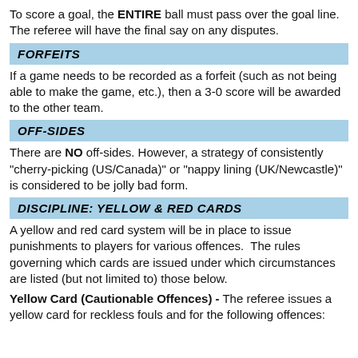To score a goal, the ENTIRE ball must pass over the goal line.  The referee will have the final say on any disputes.
FORFEITS
If a game needs to be recorded as a forfeit (such as not being able to make the game, etc.), then a 3-0 score will be awarded to the other team.
OFF-SIDES
There are NO off-sides. However, a strategy of consistently "cherry-picking (US/Canada)" or "nappy lining (UK/Newcastle)" is considered to be jolly bad form.
DISCIPLINE: YELLOW & RED CARDS
A yellow and red card system will be in place to issue punishments to players for various offences.  The rules governing which cards are issued under which circumstances are listed (but not limited to) those below.
Yellow Card (Cautionable Offences) - The referee issues a yellow card for reckless fouls and for the following offences: